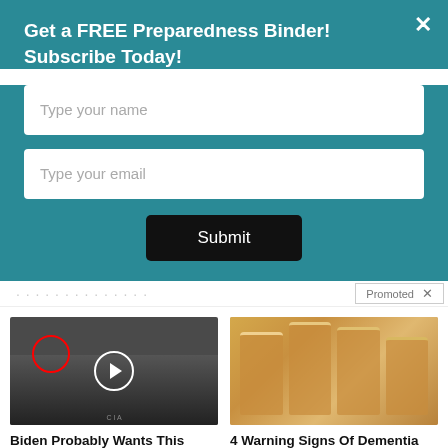Get a FREE Preparedness Binder! Subscribe Today!
Type your name
Type your email
Submit
[Figure (screenshot): Promoted ad card: Biden Probably Wants This Video Destroyed — Massive Currency Upheaval Has Started, 218,768 engagements]
[Figure (screenshot): Promoted ad card: 4 Warning Signs Of Dementia (#2 Is Scary), 13,707 engagements]